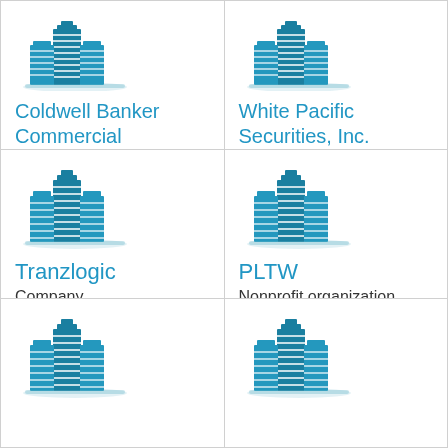[Figure (illustration): Building/skyscraper icon in teal/blue]
Coldwell Banker Commercial Intermountain
[Figure (illustration): Building/skyscraper icon in teal/blue]
White Pacific Securities, Inc.
[Figure (illustration): Building/skyscraper icon in teal/blue]
Tranzlogic
Company
[Figure (illustration): Building/skyscraper icon in teal/blue]
PLTW
Nonprofit organization
[Figure (illustration): Building/skyscraper icon in teal/blue]
[Figure (illustration): Building/skyscraper icon in teal/blue]